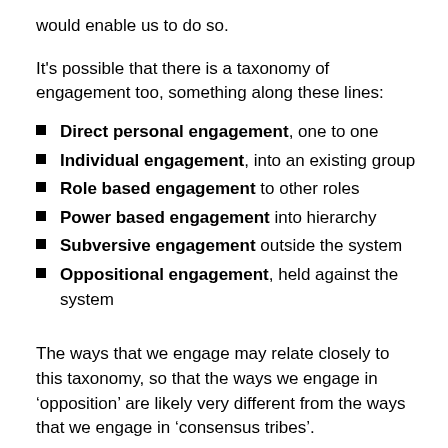would enable us to do so.
It's possible that there is a taxonomy of engagement too, something along these lines:
Direct personal engagement, one to one
Individual engagement, into an existing group
Role based engagement to other roles
Power based engagement into hierarchy
Subversive engagement outside the system
Oppositional engagement, held against the system
The ways that we engage may relate closely to this taxonomy, so that the ways we engage in ‘opposition’ are likely very different from the ways that we engage in ‘consensus tribes’.
What the research shows